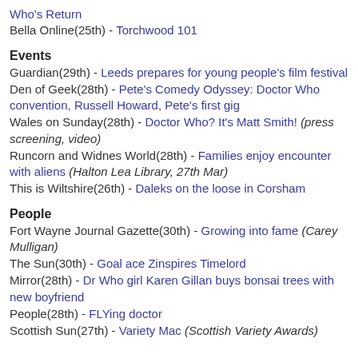Who's Return
Bella Online(25th) - Torchwood 101
Events
Guardian(29th) - Leeds prepares for young people's film festival
Den of Geek(28th) - Pete's Comedy Odyssey: Doctor Who convention, Russell Howard, Pete's first gig
Wales on Sunday(28th) - Doctor Who? It's Matt Smith! (press screening, video)
Runcorn and Widnes World(28th) - Families enjoy encounter with aliens (Halton Lea Library, 27th Mar)
This is Wiltshire(26th) - Daleks on the loose in Corsham
People
Fort Wayne Journal Gazette(30th) - Growing into fame (Carey Mulligan)
The Sun(30th) - Goal ace Zinspires Timelord
Mirror(28th) - Dr Who girl Karen Gillan buys bonsai trees with new boyfriend
People(28th) - FLYing doctor
Scottish Sun(27th) - Variety Mac (Scottish Variety Awards)